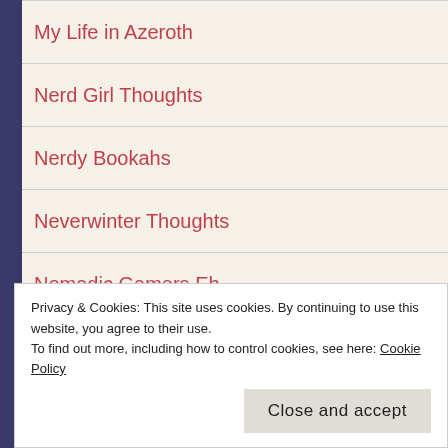My Life in Azeroth
Nerd Girl Thoughts
Nerdy Bookahs
Neverwinter Thoughts
Nomadic Gamers Eh
Not Too Serious Gamer
Occasional Hero
Parallel Context
Privacy & Cookies: This site uses cookies. By continuing to use this website, you agree to their use. To find out more, including how to control cookies, see here: Cookie Policy
Close and accept